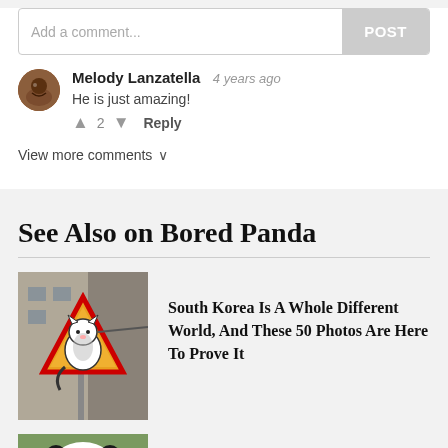Add a comment...
POST
Melody Lanzatella  4 years ago
He is just amazing!
▲ 2 ▼  Reply
View more comments ∨
See Also on Bored Panda
[Figure (photo): Triangular yellow warning road sign with a cat illustration inside]
South Korea Is A Whole Different World, And These 50 Photos Are Here To Prove It
[Figure (photo): Partial view of an animal or panda photo at bottom of page]